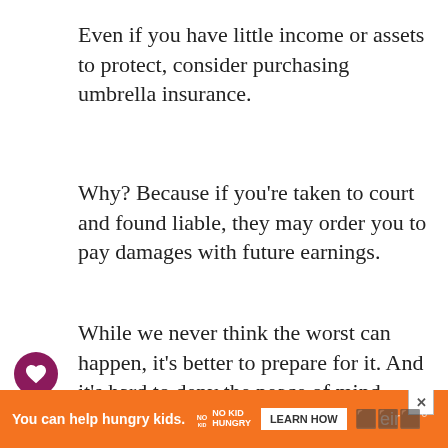Even if you have little income or assets to protect, consider purchasing umbrella insurance.
Why? Because if you're taken to court and found liable, they may order you to pay damages with future earnings.
While we never think the worst can happen, it's better to prepare for it. And it's hard to deny the peace of mind assured for as little as $9 a month.
Still not convinced? Gallen Insurance provides examples of 10 actual claims to demonstrate
[Figure (other): Like button (heart icon) - circular purple button with white heart]
[Figure (other): Share button - circular light grey button with share icon and plus sign]
[Figure (infographic): Orange advertisement banner: 'You can help hungry kids. NO KID HUNGRY LEARN HOW' with close X button]